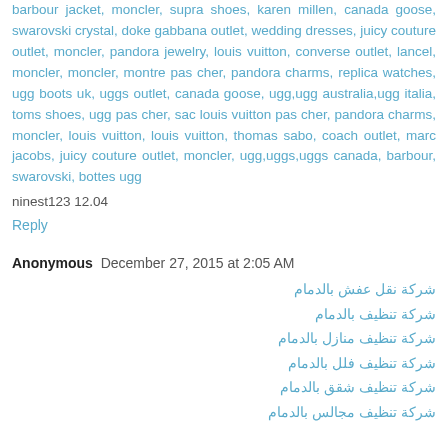barbour jacket, moncler, supra shoes, karen millen, canada goose, swarovski crystal, doke gabbana outlet, wedding dresses, juicy couture outlet, moncler, pandora jewelry, louis vuitton, converse outlet, lancel, moncler, moncler, montre pas cher, pandora charms, replica watches, ugg boots uk, uggs outlet, canada goose, ugg,ugg australia,ugg italia, toms shoes, ugg pas cher, sac louis vuitton pas cher, pandora charms, moncler, louis vuitton, louis vuitton, thomas sabo, coach outlet, marc jacobs, juicy couture outlet, moncler, ugg,uggs,uggs canada, barbour, swarovski, bottes ugg
ninest123 12.04
Reply
Anonymous December 27, 2015 at 2:05 AM
شركة نقل عفش بالدمام
شركة تنظيف بالدمام
شركة تنظيف منازل بالدمام
شركة تنظيف فلل بالدمام
شركة تنظيف شقق بالدمام
شركة تنظيف مجالس بالدمام